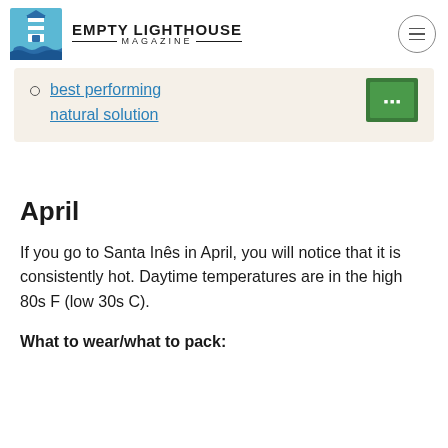EMPTY LIGHTHOUSE MAGAZINE
best performing natural solution
April
If you go to Santa Inês in April, you will notice that it is consistently hot. Daytime temperatures are in the high 80s F (low 30s C).
What to wear/what to pack: